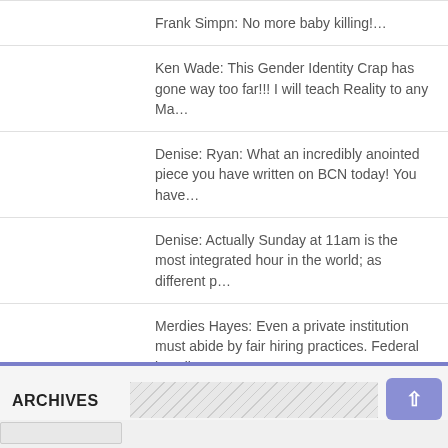Frank Simpn: No more baby killing!…
Ken Wade: This Gender Identity Crap has gone way too far!!! I will teach Reality to any Ma…
Denise: Ryan: What an incredibly anointed piece you have written on BCN today! You have…
Denise: Actually Sunday at 11am is the most integrated hour in the world; as different p…
Merdies Hayes: Even a private institution must abide by fair hiring practices. Federal law dict…
ARCHIVES